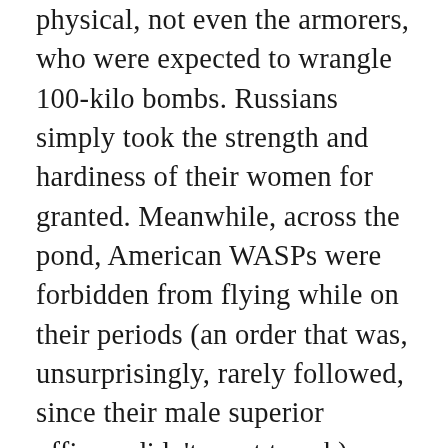physical, not even the armorers, who were expected to wrangle 100-kilo bombs. Russians simply took the strength and hardiness of their women for granted. Meanwhile, across the pond, American WASPs were forbidden from flying while on their periods (an order that was, unsurprisingly, rarely followed, since their male superior officers didn't want to ask).
The success of Aviation S...